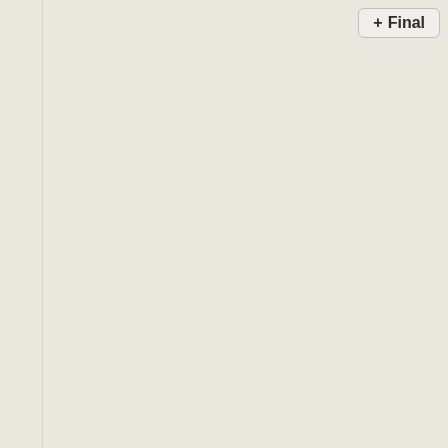+ Final
Poland vs France - Recorded by Jan